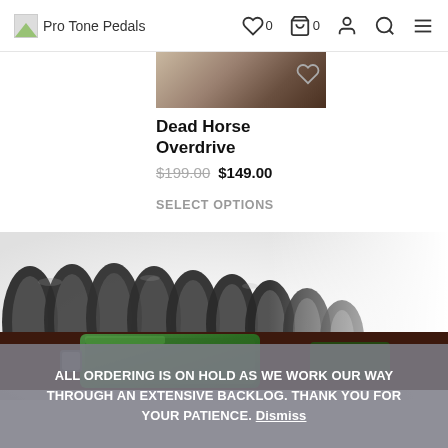Pro Tone Pedals | ♡ 0 | cart 0 | account | search | menu
[Figure (photo): Partial product thumbnail image at top of product card]
Dead Horse Overdrive
$199.00  $149.00
SELECT OPTIONS
[Figure (photo): Close-up photograph of a coiled black guitar cable/cord against a white background]
[Figure (photo): Close-up photograph of a green guitar effects pedal]
ALL ORDERING IS ON HOLD AS WE WORK OUR WAY THROUGH AN EXTENSIVE BACKLOG. THANK YOU FOR YOUR PATIENCE. Dismiss